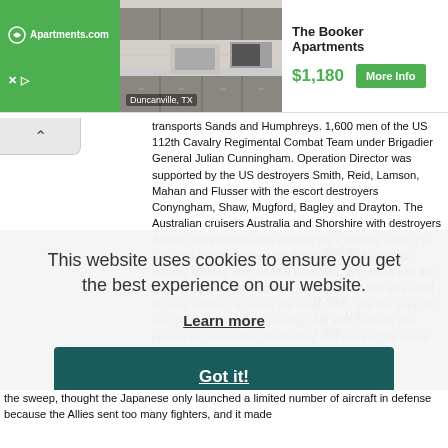[Figure (screenshot): Apartments.com advertisement banner showing a kitchen photo for The Booker Apartments in Duncanville, TX at $1,180 with a More Info button]
transports Sands and Humphreys. 1,600 men of the US 112th Cavalry Regimental Combat Team under Brigadier General Julian Cunningham. Operation Director was supported by the US destroyers Smith, Reid, Lamson, Mahan and Flusser with the escort destroyers Conyngham, Shaw, Mugford, Bagley and Drayton. The Australian cruisers Australia and Shorshire with destroyers Arunta and Warramunga provide the Covering Force (TF 74). This battle involved the first use of an Australian infantry landing ship, HMAS Westralia, in combat and the first time a dock landing ship (USS Carter Hall) was used to carry amtracs to cross the coral reefs. The fire support was provided with tank landing craft with rockets, this proved so successful that Barbey had more of the made. This battle...
This website uses cookies to ensure you get the best experience on our website.
Learn more
Got it!
the sweep, thought the Japanese only launched a limited number of aircraft in defense because the Allies sent too many fighters, and it made